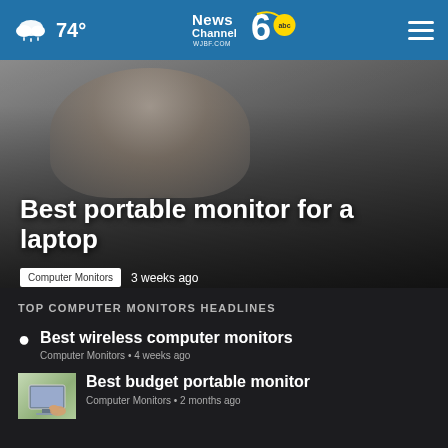74° News Channel 6 abc WJBF.COM
[Figure (photo): Person sitting in front of a laptop, viewed from below/side, dark blurred background]
Best portable monitor for a laptop
Computer Monitors   3 weeks ago
TOP COMPUTER MONITORS HEADLINES
Best wireless computer monitors
Computer Monitors • 4 weeks ago
Best budget portable monitor
Computer Monitors • 2 months ago